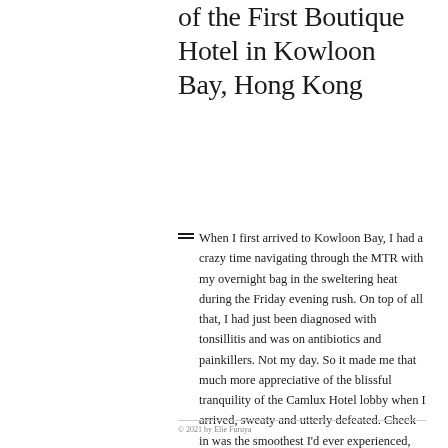of the First Boutique Hotel in Kowloon Bay, Hong Kong
When I first arrived to Kowloon Bay, I had a crazy time navigating through the MTR with my overnight bag in the sweltering heat during the Friday evening rush. On top of all that, I had just been diagnosed with tonsillitis and was on antibiotics and painkillers. Not my day. So it made me that much more appreciative of the blissful tranquility of the Camlux Hotel lobby when I arrived, sweaty and utterly defeated. Check-in was the smoothest I'd ever experienced, with a sleek iP
© 2021 by Elie Furuya